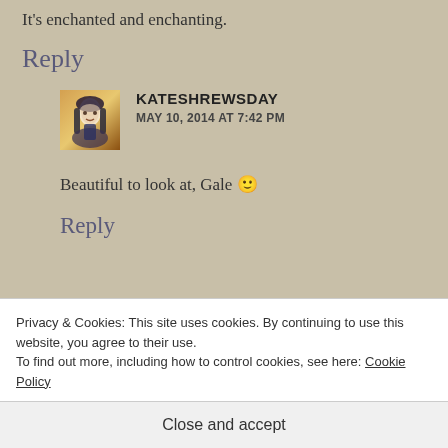It's enchanted and enchanting.
Reply
KATESHREWSDAY
MAY 10, 2014 AT 7:42 PM
Beautiful to look at, Gale 🙂
Reply
Privacy & Cookies: This site uses cookies. By continuing to use this website, you agree to their use.
To find out more, including how to control cookies, see here: Cookie Policy
Close and accept